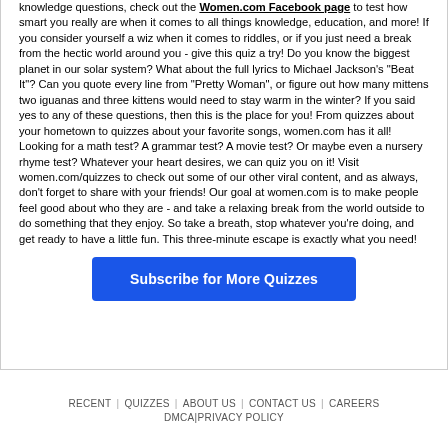knowledge questions, check out the Women.com Facebook page to test how smart you really are when it comes to all things knowledge, education, and more! If you consider yourself a wiz when it comes to riddles, or if you just need a break from the hectic world around you - give this quiz a try! Do you know the biggest planet in our solar system? What about the full lyrics to Michael Jackson's "Beat It"? Can you quote every line from "Pretty Woman", or figure out how many mittens two iguanas and three kittens would need to stay warm in the winter? If you said yes to any of these questions, then this is the place for you! From quizzes about your hometown to quizzes about your favorite songs, women.com has it all! Looking for a math test? A grammar test? A movie test? Or maybe even a nursery rhyme test? Whatever your heart desires, we can quiz you on it! Visit women.com/quizzes to check out some of our other viral content, and as always, don't forget to share with your friends! Our goal at women.com is to make people feel good about who they are - and take a relaxing break from the world outside to do something that they enjoy. So take a breath, stop whatever you're doing, and get ready to have a little fun. This three-minute escape is exactly what you need!
Subscribe for More Quizzes
RECENT | QUIZZES | ABOUT US | CONTACT US | CAREERS
DMCA | PRIVACY POLICY